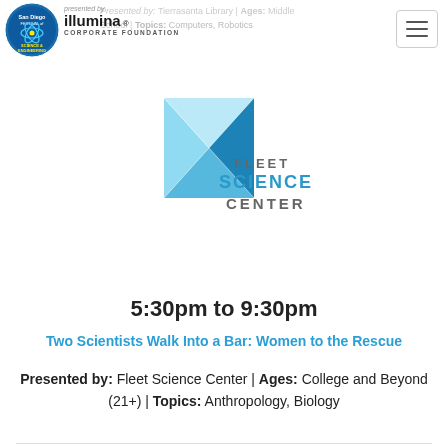Presented by: Tierrasanta Library | Ages: Middle School | Topics: Computers, Robotics
[Figure (logo): San Diego Festival of Science and Engineering circular logo with blue/green design]
[Figure (logo): Illumina Corporate Foundation logo with wordmark]
[Figure (logo): Fleet Science Center logo — blue geometric diamond/triangle shape with FLEET SCIENCE CENTER text]
5:30pm to 9:30pm
Two Scientists Walk Into a Bar: Women to the Rescue
Presented by: Fleet Science Center | Ages: College and Beyond (21+) | Topics: Anthropology, Biology